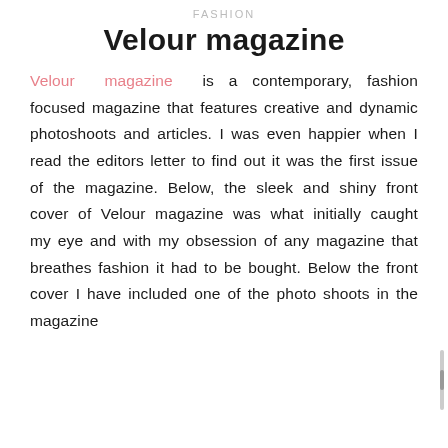fashion
Velour magazine
Velour magazine is a contemporary, fashion focused magazine that features creative and dynamic photoshoots and articles. I was even happier when I read the editors letter to find out it was the first issue of the magazine. Below, the sleek and shiny front cover of Velour magazine was what initially caught my eye and with my obsession of any magazine that breathes fashion it had to be bought. Below the front cover I have included one of the photo shoots in the magazine